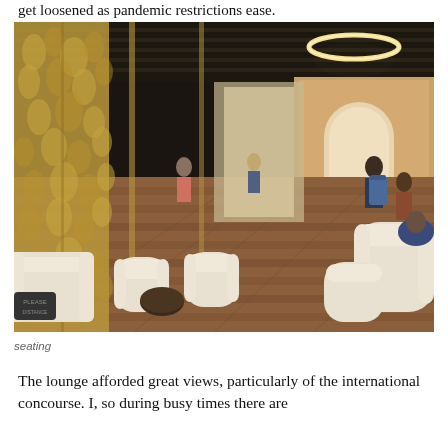get loosened as pandemic restrictions ease.
[Figure (photo): Interior of an airport lounge showing white leather armchairs and sofas arranged on a warm wood floor, with decorative gold laser-cut metal screens on the left, circular pendant lights on the ceiling, and people seated in the background.]
seating
The lounge afforded great views, particularly of the international concourse. I, so during busy times there are